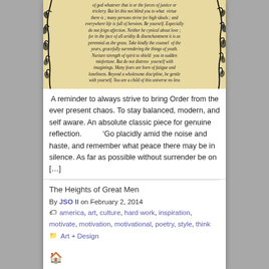[Figure (illustration): Decorative calligraphic poster of Desiderata poem text on aged parchment background with ornamental vine/tree designs on left and right borders. Text begins 'of god whatever that is or the forces of justice or trickery. But let this not blind you to what virtue there is; many persons strive for high ideals; and everywhere life is full of heroism. Be yourself. Especially do not feign affection. Neither be cynical about love; for in the face of all aridity & disenchantment it is as perennial as the grass. Take kindly the counsel of the years, gracefully surrendering the things of youth. Nurture strength of spirit to shield you in sudden misfortune. But do not distress yourself with imaginings. Many fears are born of fatigue and loneliness. Beyond a wholesome discipline, be gentle with yourself. You are a child of this universe no less']
A reminder to always strive to bring Order from the ever present chaos. To stay balanced, modern, and self aware. An absolute classic piece for genuine reflection.   'Go placidly amid the noise and haste, and remember what peace there may be in silence. As far as possible without surrender be on [...]
The Heights of Great Men
By JSO II on February 2, 2014
america, art, culture, hard work, inspiration, motivate, motivation, motivational, poetry, style, think
Art + Design